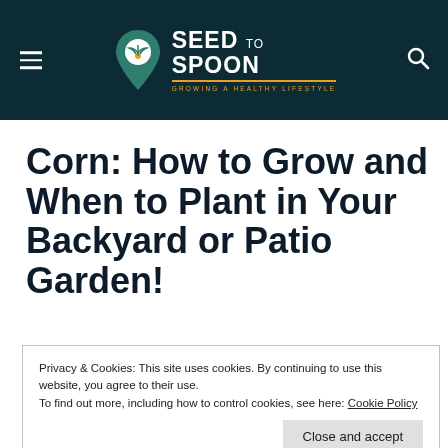Seed to Spoon — Growing a Healthy Lifestyle
Corn: How to Grow and When to Plant in Your Backyard or Patio Garden!
Privacy & Cookies: This site uses cookies. By continuing to use this website, you agree to their use.
To find out more, including how to control cookies, see here: Cookie Policy
Close and accept